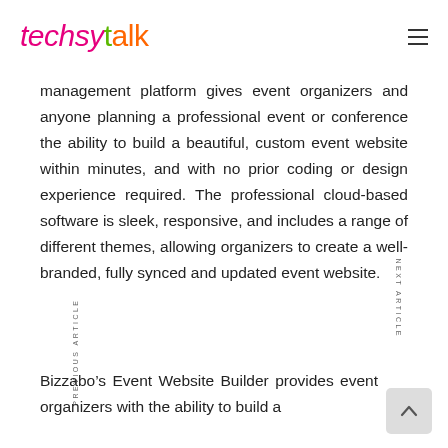techsytalk
management platform gives event organizers and anyone planning a professional event or conference the ability to build a beautiful, custom event website within minutes, and with no prior coding or design experience required. The professional cloud-based software is sleek, responsive, and includes a range of different themes, allowing organizers to create a well-branded, fully synced and updated event website.
Bizzabo’s Event Website Builder provides event organizers with the ability to build a